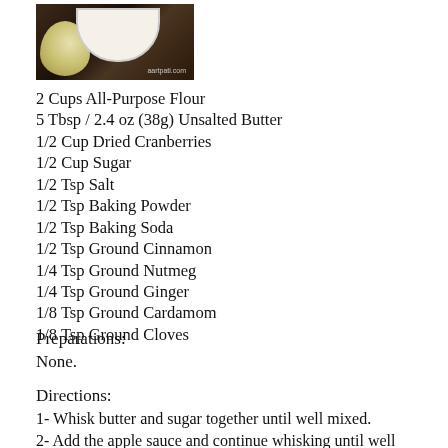[Figure (photo): Photo of a bowl of food with apple slices, dark background, watermark text 'aartpati.com']
2 Cups All-Purpose Flour
5 Tbsp / 2.4 oz (38g) Unsalted Butter
1/2 Cup Dried Cranberries
1/2 Cup Sugar
1/2 Tsp Salt
1/2 Tsp Baking Powder
1/2 Tsp Baking Soda
1/2 Tsp Ground Cinnamon
1/4 Tsp Ground Nutmeg
1/4 Tsp Ground Ginger
1/8 Tsp Ground Cardamom
1/8 Tsp Ground Cloves
Preparations:
None.
Directions:
1- Whisk butter and sugar together until well mixed.
2- Add the apple sauce and continue whisking until well combined.
3- In a separate container, combine flour, salt, baking powder, baking soda, ground cinnamon, nutmeg, ginger, cardamom and